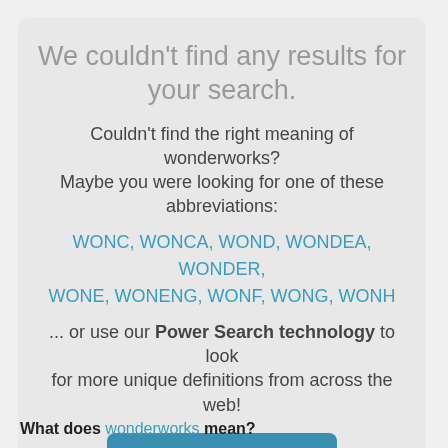We couldn't find any results for your search.
Couldn't find the right meaning of wonderworks? Maybe you were looking for one of these abbreviations:
WONC, WONCA, WOND, WONDEA, WONDER, WONE, WONENG, WONF, WONG, WONH
... or use our Power Search technology to look for more unique definitions from across the web!
[Figure (other): Search the web button]
What does wonderworks mean?